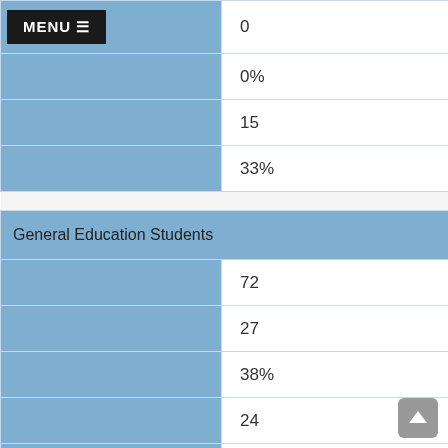|  |  |
| --- | --- |
| MENU | 0 |
|  | 0% |
|  | 15 |
|  | 33% |
| General Education Students |  |
| --- | --- |
|  | 72 |
|  | 27 |
|  | 38% |
|  | 24 |
|  | 33% |
| (help) | 20 |